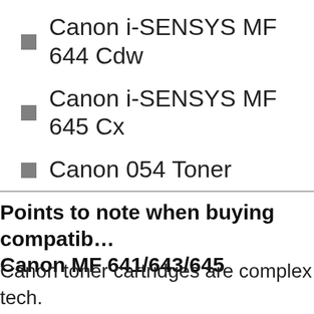Canon i-SENSYS MF 644 Cdw
Canon i-SENSYS MF 645 Cx
Canon 054 Toner
Points to note when buying compatible Canon MF 641/643/645
Canon toner cartridges are complex tech. So also the toner cartridges of the Canon 641/643/645. A lot of technical expertise